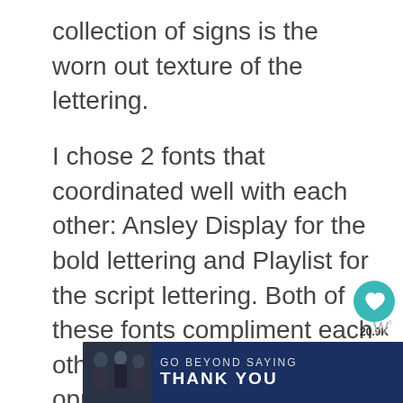collection of signs is the worn out texture of the lettering.
I chose 2 fonts that coordinated well with each other: Ansley Display for the bold lettering and Playlist for the script lettering. Both of these fonts compliment each other. They are total opposites which is what makes them look great together.
[Figure (screenshot): Social media UI widgets: a teal heart/like button showing 20.9K likes, and a share button below it. A 'WHAT'S NEXT' widget showing a thumbnail and 'Merry Christmas...' text.]
[Figure (infographic): Advertisement banner: 'GO BEYOND SAYING THANK YOU' with Operation Gratitude logo and 'JOIN US' button. Features people in uniform on the left side. An X close button in upper right.]